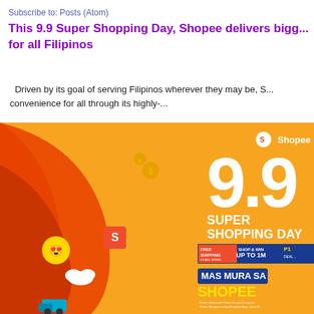Subscribe to: Posts (Atom)
This 9.9 Super Shopping Day, Shopee delivers bigg... for all Filipinos
Driven by its goal of serving Filipinos wherever they may be, S... convenience for all through its highly-...
[Figure (illustration): Shopee 9.9 Super Shopping Day promotional banner with orange and red wave design, emoji icons (heart-eyes, coins, cloud, truck), Shopee logo, large '9.9' text, 'SUPER SHOPPING DAY' text, free shipping offer, 'SHOP & WIN UP TO 1M', 'P1...' deals, 'MAS MURA SA SHOPEE' text in yellow, and small footnote text at bottom right.]